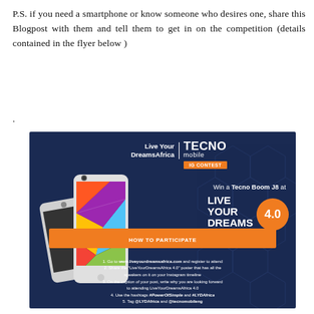P.S. if you need a smartphone or know someone who desires one, share this Blogpost with them and tell them to get in on the competition (details contained in the flyer below )
.
[Figure (infographic): Tecno Mobile IG Contest flyer on dark navy background with hexagon pattern. Shows two Tecno Boom J8 smartphones, 'Live Your Dreams Africa' logo with '4.0' in orange circle, 'TECNO mobile' branding, 'IG CONTEST' orange badge, 'Win a Tecno Boom J8 at LIVE YOUR DREAMS AFRICA 4.0'. Orange 'HOW TO PARTICIPATE' banner with 5 steps including visiting www.liveyourdreamsafrica.com, sharing poster, writing caption, using hashtags #PowerOfSimple and #LYDAfrica, and tagging @LYDAfrica and @tecnomobileng.]